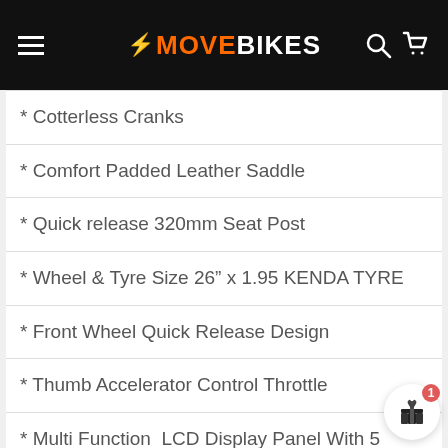MOVE BIKES
* Cotterless Cranks
* Comfort Padded Leather Saddle
* Quick release 320mm Seat Post
* Wheel & Tyre Size 26" x 1.95 KENDA TYRE
* Front Wheel Quick Release Design
* Thumb Accelerator Control Throttle
* Multi Function  LCD Display Panel With 5 Level Pedal Assist. (IPX67)